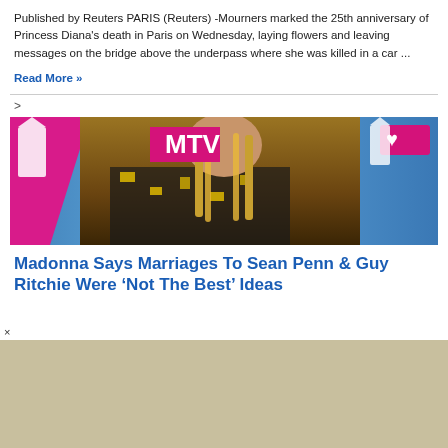Published by Reuters PARIS (Reuters) -Mourners marked the 25th anniversary of Princess Diana's death in Paris on Wednesday, laying flowers and leaving messages on the bridge above the underpass where she was killed in a car ...
Read More »
[Figure (photo): A person (Madonna) at the MTV VMAs, wearing colorful outfit with braids and large jewelry, against a blue MTV backdrop with pink elements including a heart logo]
Madonna Says Marriages To Sean Penn & Guy Ritchie Were 'Not The Best' Ideas